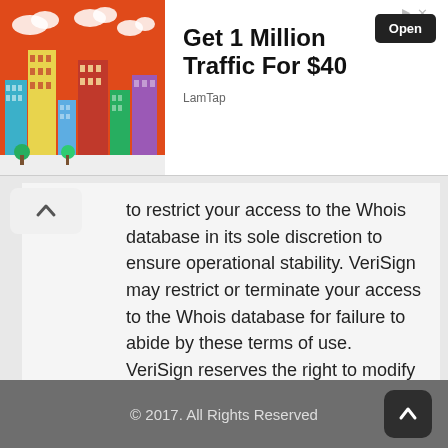[Figure (screenshot): Advertisement banner: colorful cartoon city skyline on orange background on the left. Right side shows 'Get 1 Million Traffic For $40' in bold black text with 'LamTap' source label and a dark 'Open' button.]
to restrict your access to the Whois database in its sole discretion to ensure operational stability. VeriSign may restrict or terminate your access to the Whois database for failure to abide by these terms of use. VeriSign reserves the right to modify these terms at any time.

The Registry database contains ONLY .COM, .NET, .EDU domains and Registrars.
© 2017. All Rights Reserved